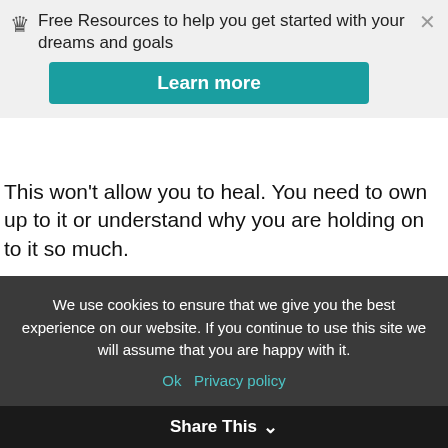Free Resources to help you get started with your dreams and goals
This won't allow you to heal. You need to own up to it or understand why you are holding on to it so much.
Understand that this will take time. No one has the perfect answer right away, and it may take you weeks or years to fully recover, but that is okay. Life is like that. Don't create unnecessary stress when it is not needed and will only lead to self-sabotage.
Know that you will mess up.
We use cookies to ensure that we give you the best experience on our website. If you continue to use this site we will assume that you are happy with it.
Ok   Privacy policy   Share This